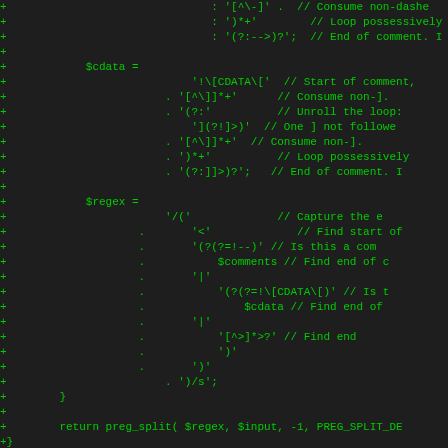[Figure (screenshot): A dark-themed code diff viewer showing PHP source code with green '+' markers indicating added lines. The code contains regex patterns for parsing HTML comments and CDATA sections, with variables $cdata, $regex, $comments, and a return statement with preg_split function call. Bottom shows start of a PHPDoc comment block.]